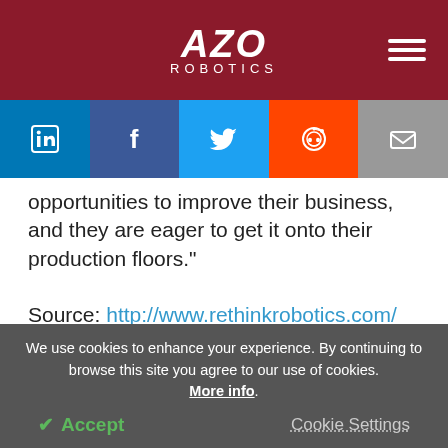AZO ROBOTICS
[Figure (infographic): Social media sharing bar with LinkedIn, Facebook, Twitter, Reddit, and Email icons]
opportunities to improve their business, and they are eager to get it onto their production floors."
Source: http://www.rethinkrobotics.com/
Download PDF Copy   Request Quote
We use cookies to enhance your experience. By continuing to browse this site you agree to our use of cookies. More info.
✔ Accept   Cookie Settings